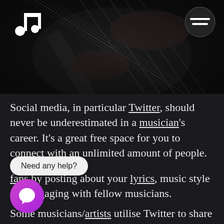[Figure (photo): Black and white photograph of a guitarist playing an electric guitar, close-up of hands on the fretboard. A music note icon is in the top-left and a hamburger/menu icon in a circle is in the top-right.]
Social media, in particular Twitter, should never be underestimated in a musician's career. It's a great free space for you to connect with an unlimited amount of people. You can gain a [collection] of fans by posting about your lyrics, music style and engaging with fellow [musicians].
Some musicians/artists utilise Twitter to share